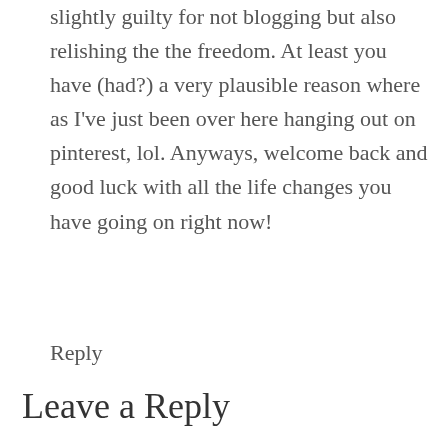slightly guilty for not blogging but also relishing the the freedom. At least you have (had?) a very plausible reason where as I've just been over here hanging out on pinterest, lol. Anyways, welcome back and good luck with all the life changes you have going on right now!
Reply
Leave a Reply
Your email address will not be published. Required fields are marked *